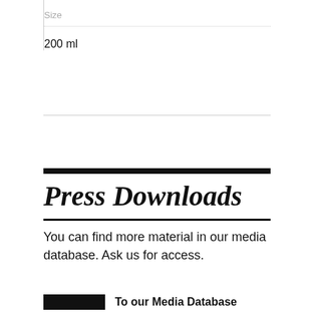| Size |
| --- |
| 200 ml |
Press Downloads
You can find more material in our media database. Ask us for access.
To our Media Database